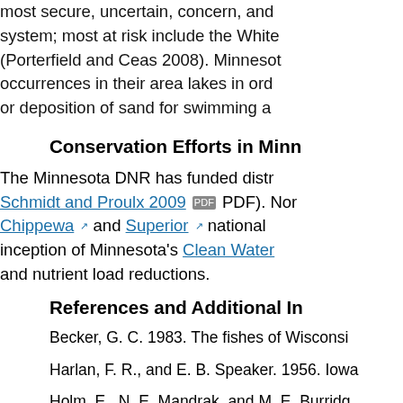most secure, uncertain, concern, and system; most at risk include the White (Porterfield and Ceas 2008). Minnesota occurrences in their area lakes in ord or deposition of sand for swimming a
Conservation Efforts in Minn
The Minnesota DNR has funded distr Schmidt and Proulx 2009 PDF). Nor Chippewa and Superior national inception of Minnesota's Clean Water and nutrient load reductions.
References and Additional In
Becker, G. C. 1983. The fishes of Wisconsi
Harlan, F. R., and E. B. Speaker. 1956. Iowa
Holm, E., N. E. Mandrak, and M. E. Burridg
Lyons, J., P. A. Cochran, and D. Fago. 2000 Wisconsin. 87 pp.